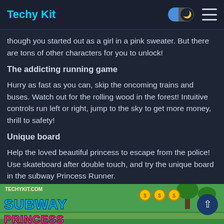Techy Kit
though you started out as a girl in a pink sweater. But there are tons of other characters for you to unlock!
The addicting running game
Hurry as fast as you can, skip the oncoming trains and buses. Watch out for the rolling wood in the forest! Intuitive controls run left or right, jump to the sky to get more money, thrill to safety!
Unique board
Help the loved beautiful princess to escape from the police! Use skateboard after double touch, and try the unique board in the subway Princess Runner.
[Figure (screenshot): Screenshot of Subway Princess Runner game showing the game title logo in colorful text over a green background with coins and trees]